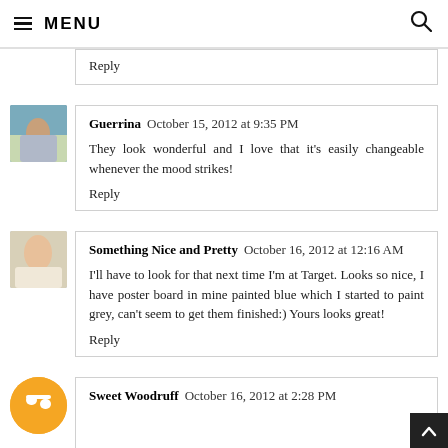≡ MENU
Reply
Guerrina  October 15, 2012 at 9:35 PM
They look wonderful and I love that it's easily changeable whenever the mood strikes!
Reply
Something Nice and Pretty  October 16, 2012 at 12:16 AM
I'll have to look for that next time I'm at Target. Looks so nice, I have poster board in mine painted blue which I started to paint grey, can't seem to get them finished:) Yours looks great!
Reply
Sweet Woodruff  October 16, 2012 at 2:28 PM